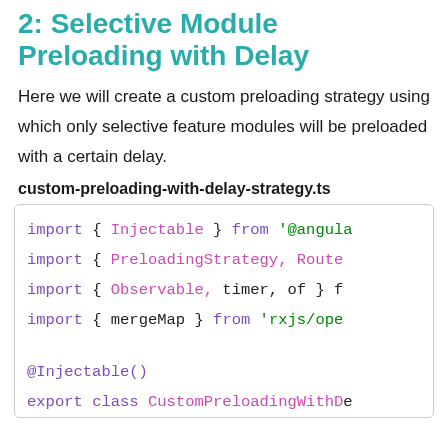2: Selective Module Preloading with Delay
Here we will create a custom preloading strategy using which only selective feature modules will be preloaded with a certain delay.
custom-preloading-with-delay-strategy.ts
[Figure (screenshot): Code block showing TypeScript imports: import { Injectable } from '@angular/...', import { PreloadingStrategy, Route...', import { Observable, timer, of } f...', import { mergeMap } from 'rxjs/ope...', then a blank line, @Injectable(), export class CustomPreloadingWithDe...]